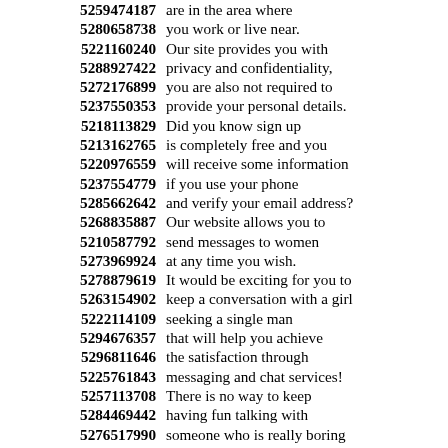5259474187 are in the area where 5280658738 you work or live near. 5221160240 Our site provides you with 5288927422 privacy and confidentiality, 5272176899 you are also not required to 5237550353 provide your personal details. 5218113829 Did you know sign up 5213162765 is completely free and you 5220976559 will receive some information 5237554779 if you use your phone 5285662642 and verify your email address? 5268835887 Our website allows you to 5210587792 send messages to women 5273969924 at any time you wish. 5278879619 It would be exciting for you to 5263154902 keep a conversation with a girl 5222114109 seeking a single man 5294676357 that will help you achieve 5296811646 the satisfaction through 5225761843 messaging and chat services! 5257113708 There is no way to keep 5284469442 having fun talking with 5276517990 someone who is really boring 5271639846 when there are so many 5256740874 beautiful women seeking men 5264455458 ...